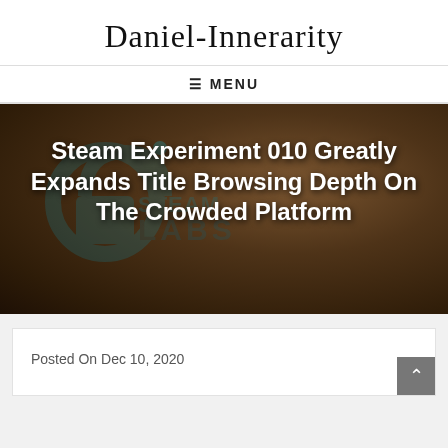Daniel-Innerarity
≡ MENU
[Figure (photo): Dark brown background with Steam Labs logo watermark (a teal padlock and 'STEAM LABS' text) and white bold title text overlay reading: Steam Experiment 010 Greatly Expands Title Browsing Depth On The Crowded Platform]
Posted On Dec 10, 2020